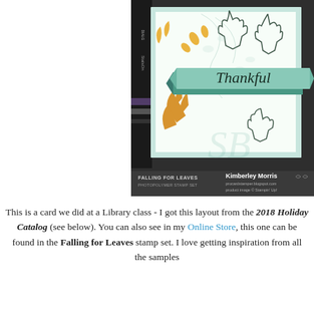[Figure (photo): A handmade greeting card featuring a 'Thankful' banner in teal, decorated with yellow/gold leaf stamps and outlined oak leaf stamps on a white background with light mint borders. The card is displayed with a 'Falling for Leaves' photopolymer stamp set by Stampin' Up!, shown by Kimberley Morris.]
This is a card we did at a Library class - I got this layout from the 2018 Holiday Catalog (see below). You can also see in my Online Store, this one can be found in the Falling for Leaves stamp set. I love getting inspiration from all the samples